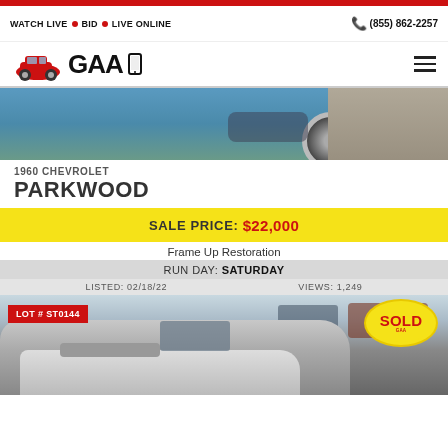WATCH LIVE • BID • LIVE ONLINE   ☎ (855) 862-2257
[Figure (logo): GAA Classic Cars logo with red vintage car illustration and GAA text]
[Figure (photo): Partial view of a classic car wheel and body on blue/teal background]
1960 CHEVROLET PARKWOOD
SALE PRICE: $22,000
Frame Up Restoration
RUN DAY: SATURDAY
LISTED: 02/18/22   VIEWS: 1,249
[Figure (photo): Silver classic car (Pontiac Firebird/Trans Am style) at auction lot with LOT # ST0144 badge and SOLD stamp overlay]